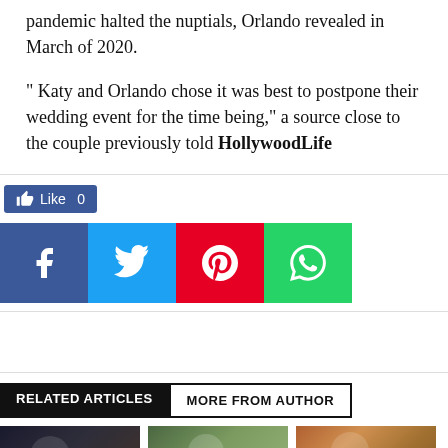pandemic halted the nuptials, Orlando revealed in March of 2020.
" Katy and Orlando chose it was best to postpone their wedding event for the time being," a source close to the couple previously told HollywoodLife
[Figure (infographic): Social media share buttons: Facebook Like button showing 0 likes, and four share icons for Facebook (blue), Twitter (light blue), Pinterest (red), and WhatsApp (green)]
RELATED ARTICLES   MORE FROM AUTHOR
[Figure (photo): Three thumbnail photos of celebrities side by side]